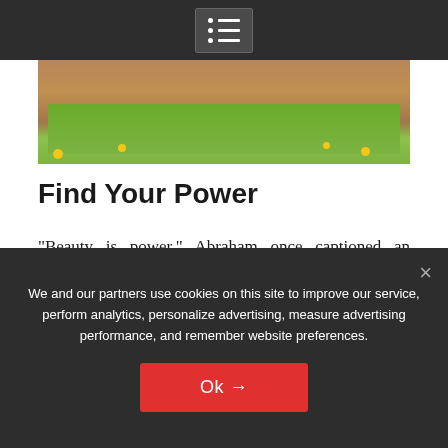Navigation menu icon
[Figure (photo): Partial view of a person outdoors in a field with yellow flowers and green grass.]
Find Your Power
“Beauty is power,” Abraham once captioned an Instagram video of her boxing.
Credit: MEGA
[Figure (photo): Partial view of a second photo with a light blue sky background and a person's head visible at the bottom.]
We and our partners use cookies on this site to improve our service, perform analytics, personalize advertising, measure advertising performance, and remember website preferences.